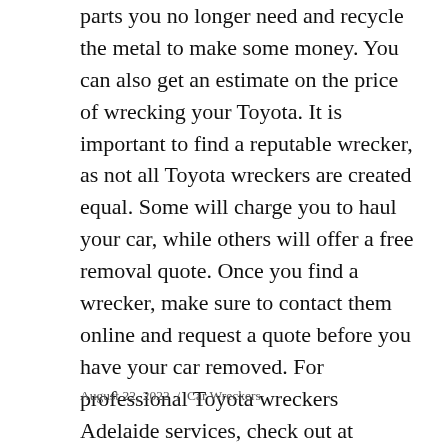parts you no longer need and recycle the metal to make some money. You can also get an estimate on the price of wrecking your Toyota. It is important to find a reputable wrecker, as not all Toyota wreckers are created equal. Some will charge you to haul your car, while others will offer a free removal quote. Once you find a wrecker, make sure to contact them online and request a quote before you have your car removed. For professional Toyota wreckers Adelaide services, check out at https://salisburyautoparts.com.au/ Toyota wreckers Adelaide now.
August 22, 2022  /  Car Wreckers